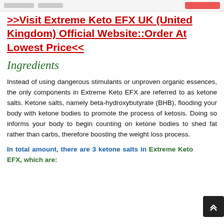[navigation bar with placeholder elements]
>>Visit Extreme Keto EFX UK (United Kingdom) Official Website::Order At Lowest Price<<
Ingredients
Instead of using dangerous stimulants or unproven organic essences, the only components in Extreme Keto EFX are referred to as ketone salts. Ketone salts, namely beta-hydroxybutyrate (BHB), flooding your body with ketone bodies to promote the process of ketosis. Doing so informs your body to begin counting on ketone bodies to shed fat rather than carbs, therefore boosting the weight loss process.
In total amount, there are 3 ketone salts in Extreme Keto EFX, which are: